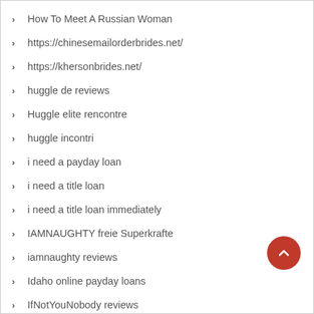How To Meet A Russian Woman
https://chinesemailorderbrides.net/
https://khersonbrides.net/
huggle de reviews
Huggle elite rencontre
huggle incontri
i need a payday loan
i need a title loan
i need a title loan immediately
IAMNAUGHTY freie Superkrafte
iamnaughty reviews
Idaho online payday loans
IfNotYouNobody reviews
Illinois online payday loans
Illinois payday loans near me